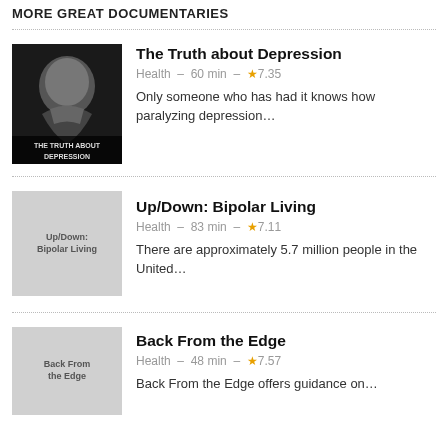MORE GREAT DOCUMENTARIES
[Figure (photo): Black and white photo of a person with head bowed and hands covering face, with text overlay 'THE TRUTH ABOUT DEPRESSION' at bottom]
The Truth about Depression
Health - 60 min - ★7.35
Only someone who has had it knows how paralyzing depression…
[Figure (photo): Placeholder image for Up/Down: Bipolar Living]
Up/Down: Bipolar Living
Health - 83 min - ★7.11
There are approximately 5.7 million people in the United…
[Figure (photo): Placeholder image for Back From the Edge]
Back From the Edge
Health - 48 min - ★7.57
Back From the Edge offers guidance on…